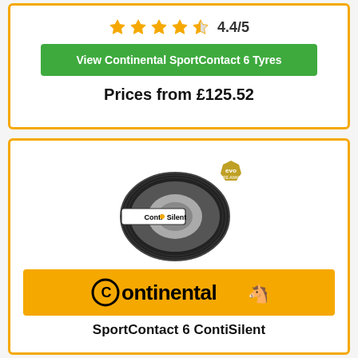4.4/5 (star rating)
View Continental SportContact 6 Tyres
Prices from £125.52
[Figure (photo): Continental SportContact 6 tyre with ContiSilent label and evo Tyre Award badge]
[Figure (logo): Continental brand logo on orange background with horse icon]
SportContact 6 ContiSilent